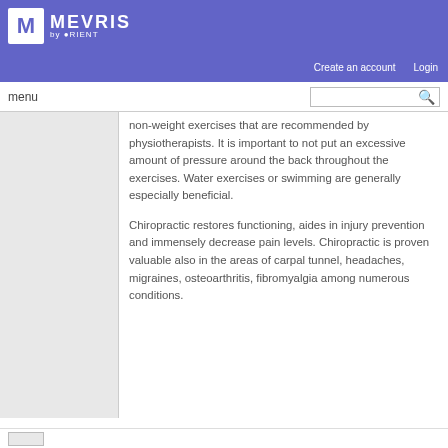MEVRIS by ORIENT
Create an account   Login
menu
non-weight exercises that are recommended by physiotherapists. It is important to not put an excessive amount of pressure around the back throughout the exercises. Water exercises or swimming are generally especially beneficial.
Chiropractic restores functioning, aides in injury prevention and immensely decrease pain levels. Chiropractic is proven valuable also in the areas of carpal tunnel, headaches, migraines, osteoarthritis, fibromyalgia among numerous conditions.